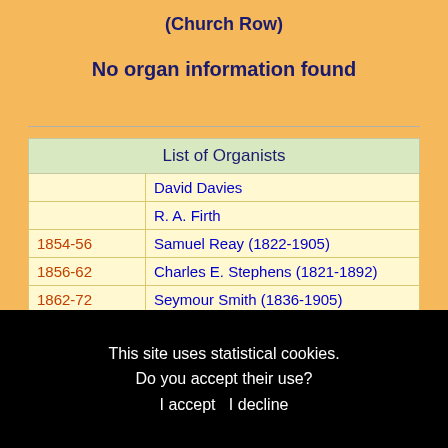(Church Row)
No organ information found
| List of Organists |
| --- |
|  | David Davies |
|  | R. A. Firth |
| 1854-56 | Samuel Reay (1822-1905) |
| 1856-62 | Charles E. Stephens (1821-1892) |
| 1862-72 | Seymour Smith (1836-1905) |
| 1894- | James Shaw (1842-1907) |
| 1894-1942 | George Aitken (1866-1942) |
| 1905-07 | Charles John Pemberton (1879-) |
This site uses statistical cookies.
Do you accept their use?
I accept I decline